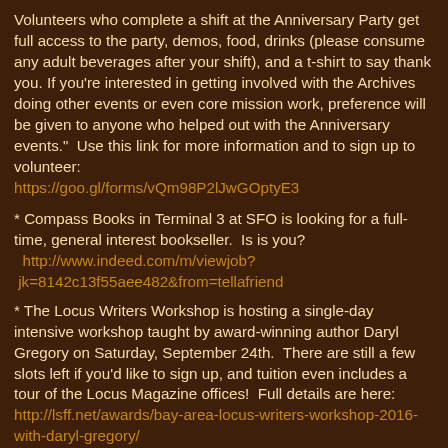Volunteers who complete a shift at the Anniversary Party get full access to the party, demos, food, drinks (please consume any adult beverages after your shift), and a t-shirt to say thank you. If you're interested in getting involved with the Archives doing other events or even core mission work, preference will be given to anyone who helped out with the Anniversary events."  Use this link for more information and to sign up to volunteer:
https://goo.gl/forms/vQm98P2lJwGOptyE3
* Compass Books in Terminal 3 at SFO is looking for a full-time, general interest bookseller.  Is is you?
http://www.indeed.com/m/viewjob?jk=8142c13f55aee482&from=tellafriend
* The Locus Writers Workshop is hosting a single-day intensive workshop taught by award-winning author Daryl Gregory on Saturday, September 24th.  There are still a few slots left if you'd like to sign up, and tuition even includes a tour of the Locus Magazine offices!  Full details are here:
http://lsff.net/awards/bay-area-locus-writers-workshop-2016-with-daryl-gregory/